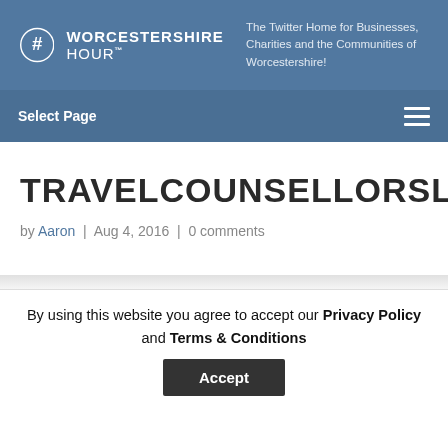[Figure (logo): Worcestershire Hour logo with hashtag icon and text 'WORCESTERSHIRE HOUR - The Twitter Home for Businesses, Charities and the Communities of Worcestershire!']
Select Page
TRAVELCOUNSELLORSLOGO
by Aaron | Aug 4, 2016 | 0 comments
By using this website you agree to accept our Privacy Policy and Terms & Conditions
Accept